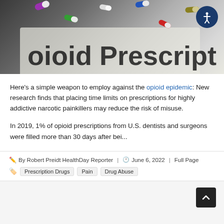[Figure (photo): Photo of colorful prescription pill capsules scattered on a surface with text reading 'Opioid Prescription', with an accessibility button in the top right corner]
Here's a simple weapon to employ against the opioid epidemic: New research finds that placing time limits on prescriptions for highly addictive narcotic painkillers may reduce the risk of misuse.
In 2019, 1% of opioid prescriptions from U.S. dentists and surgeons were filled more than 30 days after bei...
By Robert Preidt HealthDay Reporter | June 6, 2022 | Full Page
Prescription Drugs  Pain  Drug Abuse